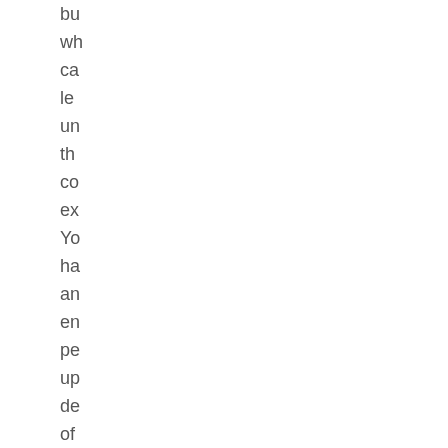bu
wh
ca
le
un
th
co
ex
Yo
ha
an
en
pe
up
de
of
cu
wh